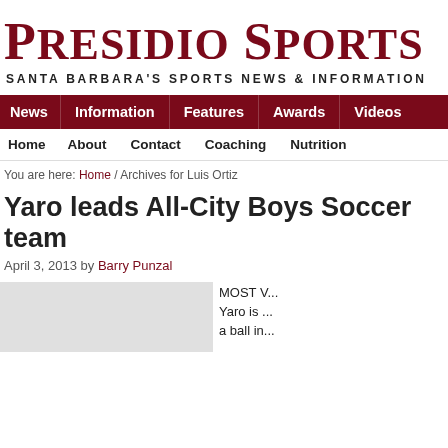Presidio Sports
SANTA BARBARA'S SPORTS NEWS & INFORMATION
News | Information | Features | Awards | Videos
Home | About | Contact | Coaching | Nutrition
You are here: Home / Archives for Luis Ortiz
Yaro leads All-City Boys Soccer team
April 3, 2013 by Barry Punzal
[Figure (photo): Sports photo placeholder, light gray background]
MOST V... Yaro is ... a ball in...